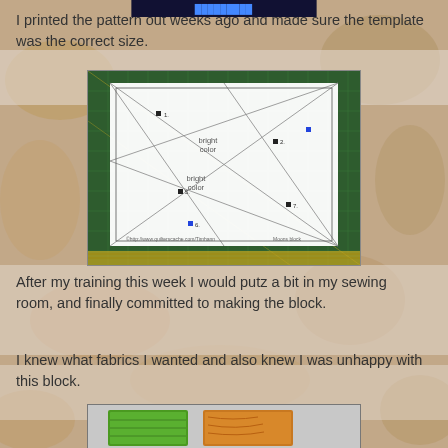[Figure (other): Dark header bar at top of page, likely a blog or website navigation bar]
I printed the pattern out weeks ago and made sure the template was the correct size.
[Figure (photo): Photo of a quilt pattern template with geometric diagonal lines printed on white paper, laid on a green cutting mat. Labels on pattern read 'bright color' in two sections, with numbered points marked.]
After my training this week I would putz a bit in my sewing room, and finally committed to making the block.
I knew what fabrics I wanted and also knew I was unhappy with this block.
[Figure (photo): Partial photo of colorful quilt fabrics including green and orange/brown textured pieces visible at bottom of page.]